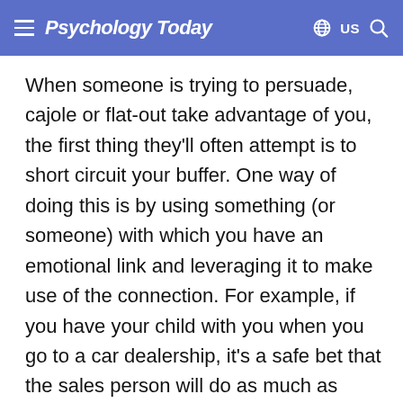Psychology Today
When someone is trying to persuade, cajole or flat-out take advantage of you, the first thing they'll often attempt is to short circuit your buffer. One way of doing this is by using something (or someone) with which you have an emotional link and leveraging it to make use of the connection. For example, if you have your child with you when you go to a car dealership, it's a safe bet that the sales person will do as much as she/he can to win your kid over. Your emotional connection with your child provides massive bandwidth for a skillful sales person to leverage against your psychological buffer.